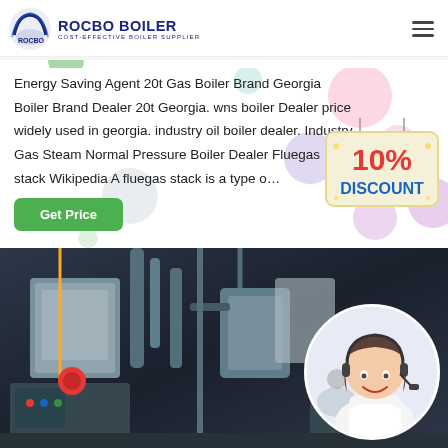[Figure (logo): Rocbo Boiler logo with circular icon and text ROCBO BOILER - COST-EFFECTIVE BOILER SUPPLIER]
Energy Saving Agent 20t Gas Boiler Brand Georgia Boiler Brand Dealer 20t Georgia. wns boiler Dealer price widely used in georgia. industry oil boiler dealer. Industry Gas Steam Normal Pressure Boiler Dealer Fluegas stack Wikipedia A fluegas stack is a type o…
[Figure (illustration): 10% DISCOUNT badge/sign with red and blue text on cream colored hanging sign with decorative elements]
[Figure (photo): Industrial boiler equipment room with pipes, valves, and machinery in dark industrial setting, with customer service representative woman wearing headset overlaid on right side]